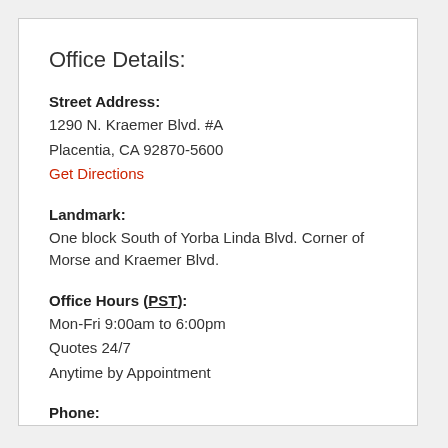Office Details:
Street Address:
1290 N. Kraemer Blvd. #A
Placentia, CA 92870-5600
Get Directions
Landmark:
One block South of Yorba Linda Blvd. Corner of Morse and Kraemer Blvd.
Office Hours (PST):
Mon-Fri 9:00am to 6:00pm
Quotes 24/7
Anytime by Appointment
Phone:
714-529-8500